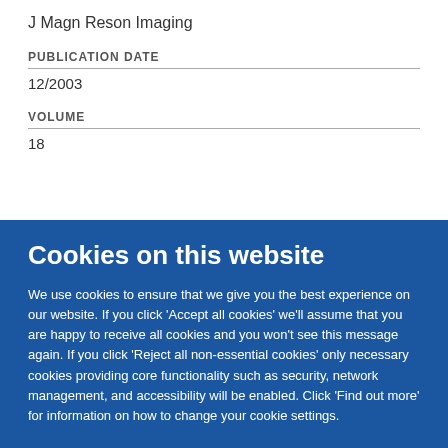J Magn Reson Imaging
PUBLICATION DATE
12/2003
VOLUME
18
Cookies on this website
We use cookies to ensure that we give you the best experience on our website. If you click 'Accept all cookies' we'll assume that you are happy to receive all cookies and you won't see this message again. If you click 'Reject all non-essential cookies' only necessary cookies providing core functionality such as security, network management, and accessibility will be enabled. Click 'Find out more' for information on how to change your cookie settings.